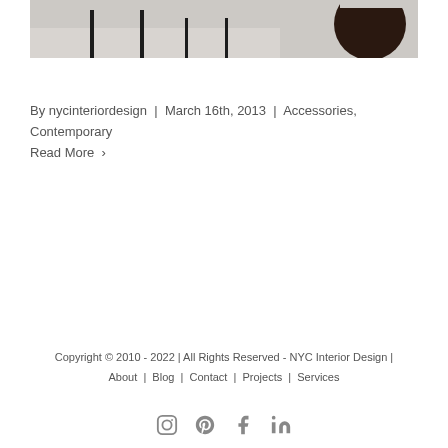[Figure (photo): Interior design photo showing furniture legs and a dark round object against a light grey floor]
By nycinteriordesign | March 16th, 2013 | Accessories, Contemporary
Read More >
Copyright © 2010 - 2022 | All Rights Reserved - NYC Interior Design | About | Blog | Contact | Projects | Services
[Figure (illustration): Social media icons: Instagram, Pinterest, Facebook, LinkedIn]